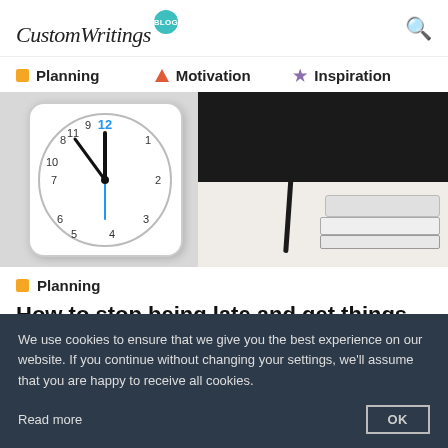CustomWritings Blog
Planning
Motivation
Inspiration
[Figure (photo): A white square alarm clock showing approximately 11:58, with hour numerals, on a light gray surface. To the right, a dark background with a desk surface showing a black pen and a stack of white notebooks.]
Planning
How to stop being late and get things
We use cookies to ensure that we give you the best experience on our website. If you continue without changing your settings, we'll assume that you are happy to receive all cookies.

Read more

OK